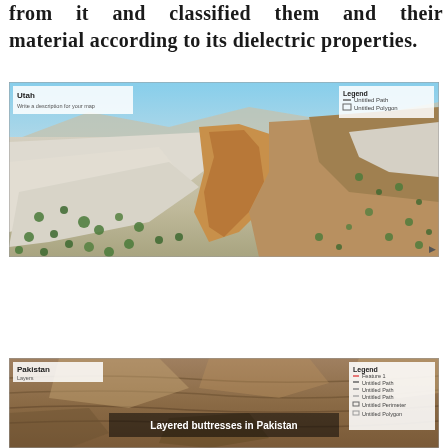from it and classified them and their material according to its dielectric properties.
[Figure (photo): Aerial/satellite 3D view of a Utah landscape showing white and tan/orange layered rock formations with sparse green vegetation. A small inset legend in the top-right reads 'Legend' with Untitled Path and Untitled Polygon entries. Top-left label reads 'Utah' with subtitle text.]
[Figure (photo): Partial aerial/satellite 3D view of a Pakistan landscape showing brown/tan layered rock formations. Text overlay reads 'Layered buttresses in Pakistan'. Top-left label 'Pakistan' with 'Layers' subtitle. Legend in top-right corner with multiple entries including Feature 1, Untitled Path, Untitled Path, Untitled Path, Untitled Perimeter, Untitled Polygon.]